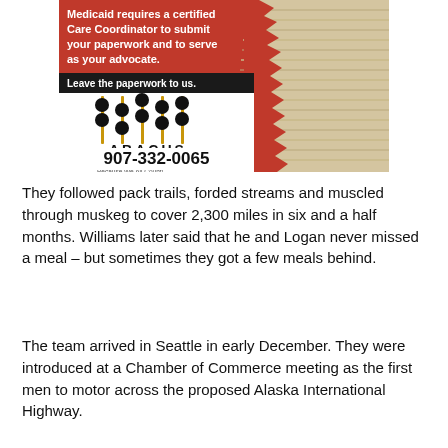[Figure (advertisement): Abacus Care Coordination advertisement showing text 'Medicaid requires a Certified Care Coordinator to submit your paperwork and to serve as your advocate.' with black bar 'Leave the paperwork to us.' Abacus logo with abacus beads graphic, 'Care Coordination Because We All Count!' tagline, phone number 907-332-0065, and a stack of papers on the right side.]
They followed pack trails, forded streams and muscled through muskeg to cover 2,300 miles in six and a half months. Williams later said that he and Logan never missed a meal – but sometimes they got a few meals behind.
The team arrived in Seattle in early December. They were introduced at a Chamber of Commerce meeting as the first men to motor across the proposed Alaska International Highway.